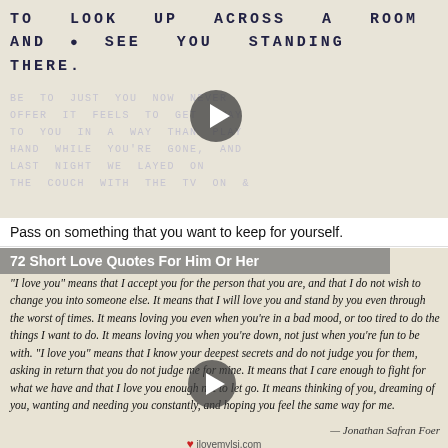[Figure (screenshot): Handwritten text on aged paper background reading 'TO LOOK UP ACROSS A ROOM AND SEE YOU STANDING THERE.' with faded text below, and a play button overlay indicating a video]
Pass on something that you want to keep for yourself.
72 Short Love Quotes For Him Or Her
"I love you" means that I accept you for the person that you are, and that I do not wish to change you into someone else. It means that I will love you and stand by you even through the worst of times. It means loving you even when you're in a bad mood, or too tired to do the things I want to do. It means loving you when you're down, not just when you're fun to be with. "I love you" means that I know your deepest secrets and do not judge you for them, asking in return that you do not judge me for mine. It means that I care enough to fight for what we have and that I love you enough not to let go. It means thinking of you, dreaming of you, wanting and needing you constantly, and hoping you feel the same way for me.
- Jonathan Safran Foer
ilovemylsi.com